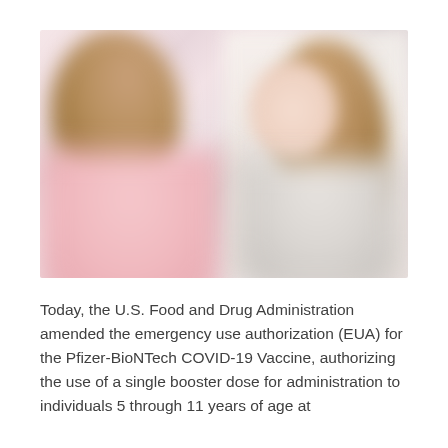[Figure (photo): Blurred photo of two people facing each other, one appearing to be a healthcare provider or adult (left, wearing pink, with brown hair) and a child (right, with brown hair), suggesting a medical or healthcare interaction.]
Today, the U.S. Food and Drug Administration amended the emergency use authorization (EUA) for the Pfizer-BioNTech COVID-19 Vaccine, authorizing the use of a single booster dose for administration to individuals 5 through 11 years of age at